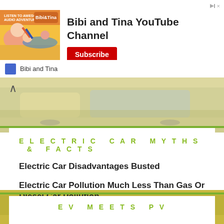[Figure (screenshot): Advertisement banner for Bibi and Tina YouTube Channel with animated character illustration, channel name, and red Subscribe button]
[Figure (photo): Background image strip showing electric car interior/exterior scene]
ELECTRIC CAR MYTHS & FACTS
Electric Car Disadvantages Busted
Electric Car Pollution Much Less Than Gas Or Diesel Car Pollution
Hydrogen Fuel Cell Cars — #FAIL, In Depth
[Figure (photo): Background image strip showing electric car charging/street scene]
EV MEETS PV